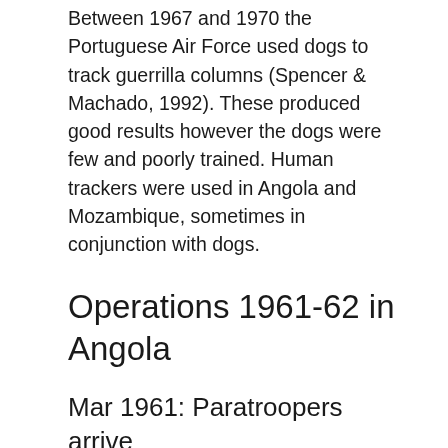Between 1967 and 1970 the Portuguese Air Force used dogs to track guerrilla columns (Spencer & Machado, 1992). These produced good results however the dogs were few and poorly trained. Human trackers were used in Angola and Mozambique, sometimes in conjunction with dogs.
Operations 1961-62 in Angola
Mar 1961: Paratroopers arrive
UPA invaded northern Angola in Mar 1961 (Spencer & Machado, 1992). 1a CCP arrived in Angola in the same month. 2a and 3a CCP arrived in Apr 1961. The paratroopers were used to garrisoned vulnerable towns or